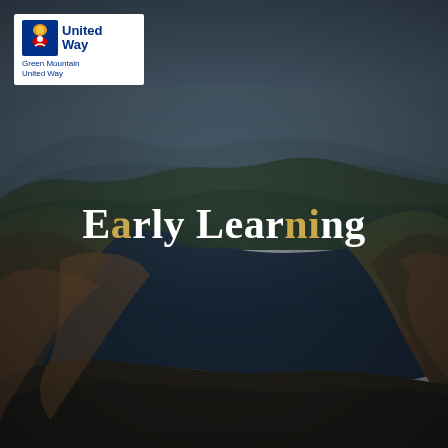[Figure (photo): Aerial landscape photograph showing a lake surrounded by autumn foliage forest with mountains in the background under a hazy sky, overlaid with a dark tint.]
[Figure (logo): United Way / Green Mountain United Way logo in white box at top-left corner. Features the United Way torch/people icon and text 'United Way' and 'Green Mountain United Way'.]
Early Learning